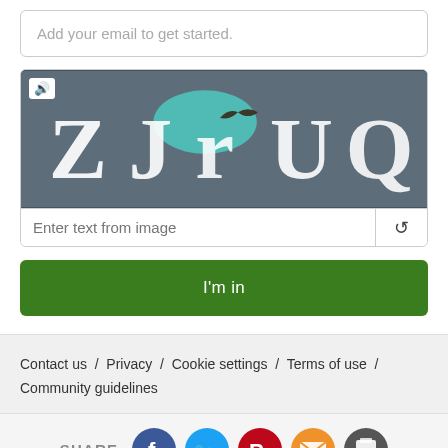Add your email to get started.
[Figure (screenshot): CAPTCHA widget with audio speaker icon, distorted text image showing 'ZJrUQ', text input field, and refresh button]
I'm in
Contact us / Privacy / Cookie settings / Terms of use / Community guidelines
SHARE
[Figure (infographic): Social share icons: Facebook, Twitter, Pinterest, Email, Print]